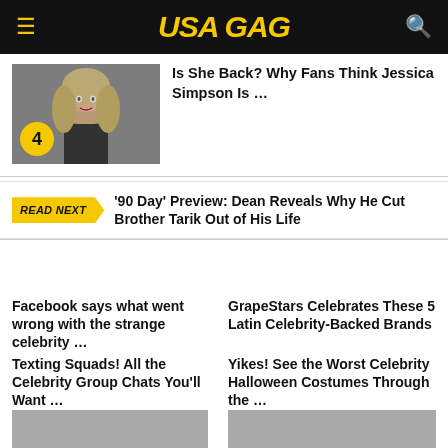USA GAG
Is She Back? Why Fans Think Jessica Simpson Is …
READ NEXT  '90 Day' Preview: Dean Reveals Why He Cut Brother Tarik Out of His Life
Facebook says what went wrong with the strange celebrity …
GrapeStars Celebrates These 5 Latin Celebrity-Backed Brands
Texting Squads! All the Celebrity Group Chats You'll Want …
Yikes! See the Worst Celebrity Halloween Costumes Through the …